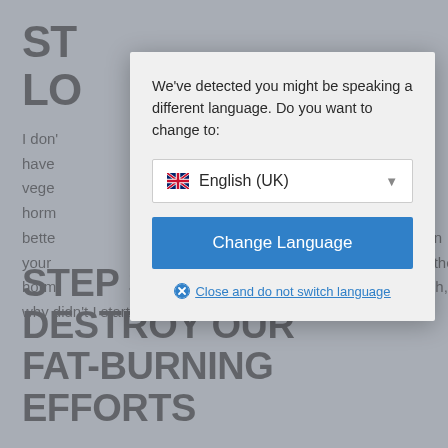ST
LO
I don't you have vege horm bette in your the horm Oh, why didn't I start exercising? Vegetables.
[Figure (screenshot): Language selection modal dialog box with text 'We've detected you might be speaking a different language. Do you want to change to:' followed by a dropdown showing English (UK) with UK flag, a blue 'Change Language' button, and a 'Close and do not switch language' link.]
STEP 3 DON'T DESTROY OUR FAT-BURNING EFFORTS